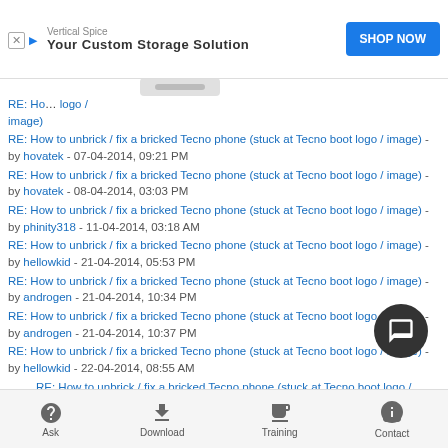[Figure (screenshot): Advertisement banner for Vertical Spice with 'Your Custom Storage Solution' tagline and 'SHOP NOW' button]
RE: How to unbrick / fix a bricked Tecno phone (stuck at Tecno boot logo / image) - by hovatek - 07-04-2014, 09:21 PM
RE: How to unbrick / fix a bricked Tecno phone (stuck at Tecno boot logo / image) - by hovatek - 08-04-2014, 03:03 PM
RE: How to unbrick / fix a bricked Tecno phone (stuck at Tecno boot logo / image) - by phinity318 - 11-04-2014, 03:18 AM
RE: How to unbrick / fix a bricked Tecno phone (stuck at Tecno boot logo / image) - by hellowkid - 21-04-2014, 05:53 PM
RE: How to unbrick / fix a bricked Tecno phone (stuck at Tecno boot logo / image) - by androgen - 21-04-2014, 10:34 PM
RE: How to unbrick / fix a bricked Tecno phone (stuck at Tecno boot logo / image) - by androgen - 21-04-2014, 10:37 PM
RE: How to unbrick / fix a bricked Tecno phone (stuck at Tecno boot logo / image) - by hellowkid - 22-04-2014, 08:55 AM
RE: How to unbrick / fix a bricked Tecno phone (stuck at Tecno boot logo / image) - by hovatek - 22-04-2014, 09:45 AM
RE: How to unbrick / fix a bricked Tecno phone (stuck at Tecno boot logo / image) - by androgen - 22-04-2014, 10:35 AM
Ask  Download  Training  Contact